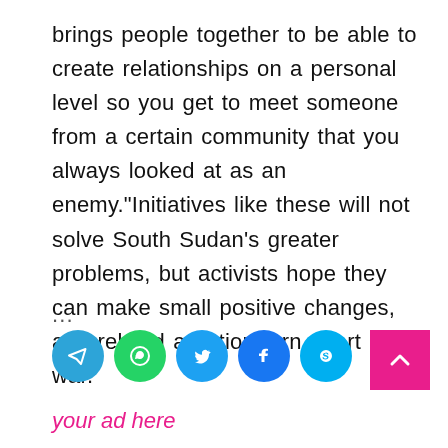brings people together to be able to create relationships on a personal level so you get to meet someone from a certain community that you always looked at as an enemy.“Initiatives like these will not solve South Sudan’s greater problems, but activists hope they can make small positive changes, and rebuild a nation torn apart by war.
...
[Figure (infographic): Row of five circular social media share buttons: Telegram (blue), WhatsApp (green), Twitter (blue), Facebook (blue), Skype (light blue). A magenta square back-to-top button with upward arrow chevron appears to the right.]
your ad here